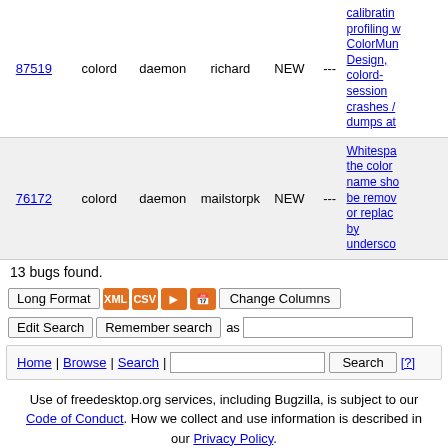87519  colord  daemon  richard  NEW  ---  calibrating/profiling with ColorMunki Design, colord-session crashes / dumps at
76172  colord  daemon  mailstorpk  NEW  ---  Whitespace in the color name should be removed or replaced by undersco
13 bugs found.
Long Format  XML  CSV  RSS  CAL  Change Columns
Edit Search  Remember search as
Home | Browse | Search |  Search  [?]
Use of freedesktop.org services, including Bugzilla, is subject to our Code of Conduct. How we collect and use information is described in our Privacy Policy.